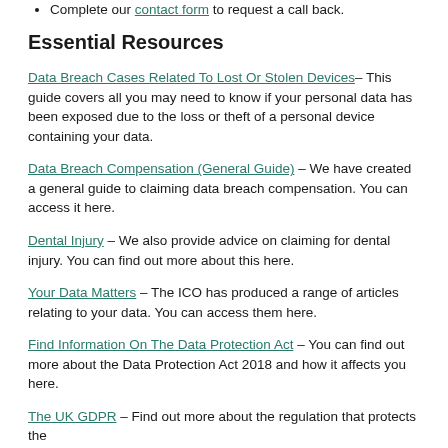Complete our contact form to request a call back.
Essential Resources
Data Breach Cases Related To Lost Or Stolen Devices – This guide covers all you may need to know if your personal data has been exposed due to the loss or theft of a personal device containing your data.
Data Breach Compensation (General Guide) – We have created a general guide to claiming data breach compensation. You can access it here.
Dental Injury – We also provide advice on claiming for dental injury. You can find out more about this here.
Your Data Matters – The ICO has produced a range of articles relating to your data. You can access them here.
Find Information On The Data Protection Act – You can find out more about the Data Protection Act 2018 and how it affects you here.
The UK GDPR – Find out more about the regulation that protects the